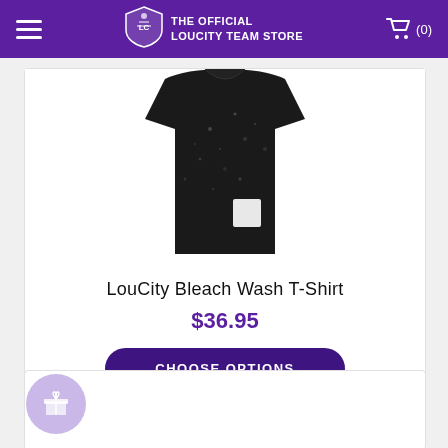THE OFFICIAL LOUCITY TEAM STORE
[Figure (photo): Close-up of a black bleach wash t-shirt with white speckles and a small white square patch/label on the front]
LouCity Bleach Wash T-Shirt
$36.95
CHOOSE OPTIONS
[Figure (photo): Gray quarter-zip jacket collar and upper chest area shown from front]